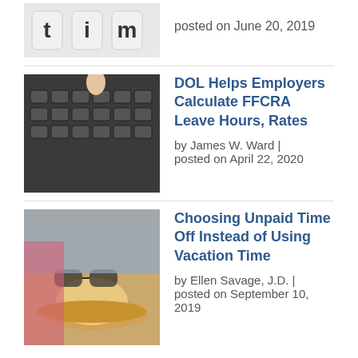[Figure (photo): Partial view of letter tile blocks spelling 'tim']
posted on June 20, 2019
[Figure (photo): Hand pressing keys on a dark keyboard]
DOL Helps Employers Calculate FFCRA Leave Hours, Rates
by James W. Ward | posted on April 22, 2020
[Figure (photo): Vacation items including a hat and travel accessories]
Choosing Unpaid Time Off Instead of Using Vacation Time
by Ellen Savage, J.D. | posted on September 10, 2019
Disclaimer
The contents of this blog should not be interpreted or construed as legal advice.
Popular
California Employment Law